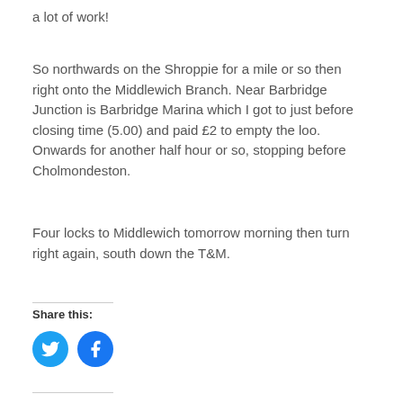a lot of work!
So northwards on the Shroppie for a mile or so then right onto the Middlewich Branch. Near Barbridge Junction is Barbridge Marina which I got to just before closing time (5.00) and paid £2 to empty the loo. Onwards for another half hour or so, stopping before Cholmondeston.
Four locks to Middlewich tomorrow morning then turn right again, south down the T&M.
Share this:
[Figure (illustration): Twitter and Facebook social share icon buttons (blue circles with white bird and f icons)]